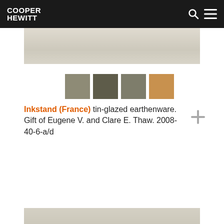COOPER HEWITT
[Figure (photo): Partial view of an inkstand artifact on a light beige/grey background, shown as a horizontal strip at the top of the content area]
[Figure (infographic): Four color swatches extracted from the object: muted sage green, dark olive green, medium grey-green, warm tan/brown]
Inkstand (France) tin-glazed earthenware. Gift of Eugene V. and Clare E. Thaw. 2008-40-6-a/d
[Figure (illustration): Grey plus/add icon button on the right side]
[Figure (photo): Partial view of another inkstand artifact, shown as a horizontal strip at the bottom of the page]